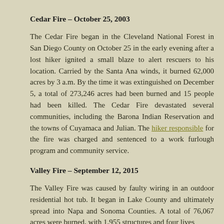Cedar Fire – October 25, 2003
The Cedar Fire began in the Cleveland National Forest in San Diego County on October 25 in the early evening after a lost hiker ignited a small blaze to alert rescuers to his location. Carried by the Santa Ana winds, it burned 62,000 acres by 3 a.m. By the time it was extinguished on December 5, a total of 273,246 acres had been burned and 15 people had been killed. The Cedar Fire devastated several communities, including the Barona Indian Reservation and the towns of Cuyamaca and Julian. The hiker responsible for the fire was charged and sentenced to a work furlough program and community service.
Valley Fire – September 12, 2015
The Valley Fire was caused by faulty wiring in an outdoor residential hot tub. It began in Lake County and ultimately spread into Napa and Sonoma Counties. A total of 76,067 acres were burned, with 1,955 structures and four lives